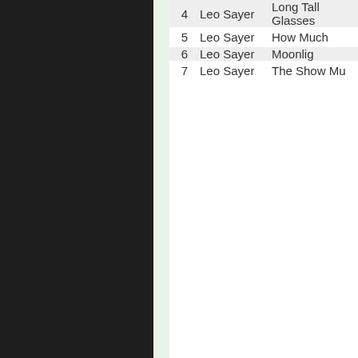| # | Artist | Song |
| --- | --- | --- |
| 4 | Leo Sayer | Long Tall Glasses |
| 5 | Leo Sayer | How Much |
| 6 | Leo Sayer | Moonlight |
| 7 | Leo Sayer | The Show Mu |